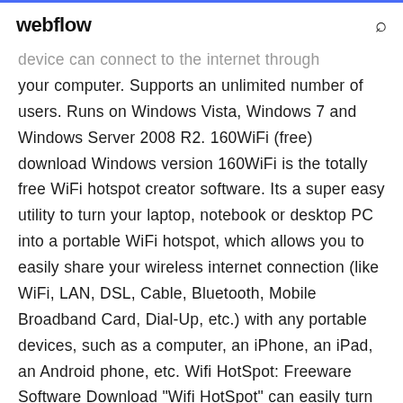webflow
device can connect to the internet through your computer. Supports an unlimited number of users. Runs on Windows Vista, Windows 7 and Windows Server 2008 R2. 160WiFi (free) download Windows version 160WiFi is the totally free WiFi hotspot creator software. Its a super easy utility to turn your laptop, notebook or desktop PC into a portable WiFi hotspot, which allows you to easily share your wireless internet connection (like WiFi, LAN, DSL, Cable, Bluetooth, Mobile Broadband Card, Dial-Up, etc.) with any portable devices, such as a computer, an iPhone, an iPad, an Android phone, etc. Wifi HotSpot: Freeware Software Download "Wifi HotSpot" can easily turn your